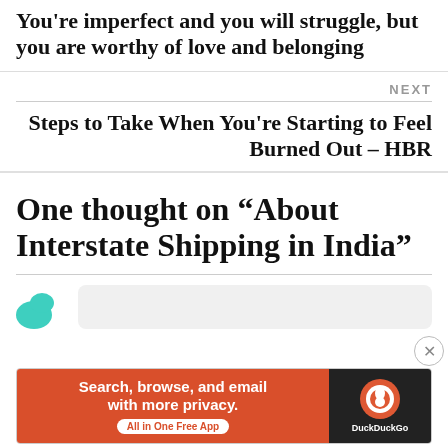You're imperfect and you will struggle, but you are worthy of love and belonging
NEXT
Steps to Take When You're Starting to Feel Burned Out – HBR
One thought on “About Interstate Shipping in India”
[Figure (other): User avatar teal/green shape and comment input bubble]
Advertisements
[Figure (other): DuckDuckGo advertisement banner: Search, browse, and email with more privacy. All in One Free App]